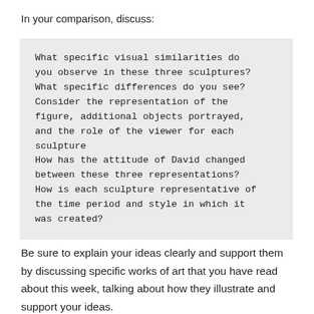In your comparison, discuss:
What specific visual similarities do you observe in these three sculptures? What specific differences do you see? Consider the representation of the figure, additional objects portrayed, and the role of the viewer for each sculpture
How has the attitude of David changed between these three representations?
How is each sculpture representative of the time period and style in which it was created?
Be sure to explain your ideas clearly and support them by discussing specific works of art that you have read about this week, talking about how they illustrate and support your ideas.